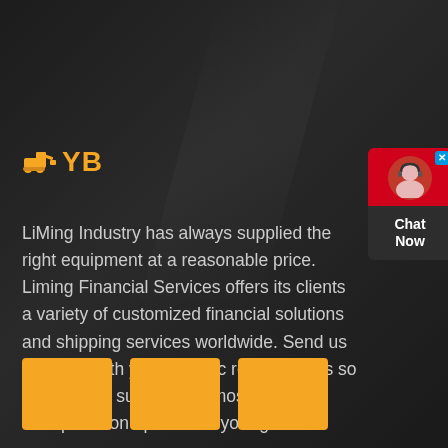[Figure (logo): YB logo with excavator/bulldozer icon in orange and bold YB text in orange]
LiMing Industry has always supplied the right equipment at a reasonable price. Liming Financial Services offers its clients a variety of customized financial solutions and shipping services worldwide. Send us an email with your specific requirements so that we can suggest the most efficient transportation options for your goods.
[Figure (other): Three orange/golden square boxes in a row at the bottom of the page]